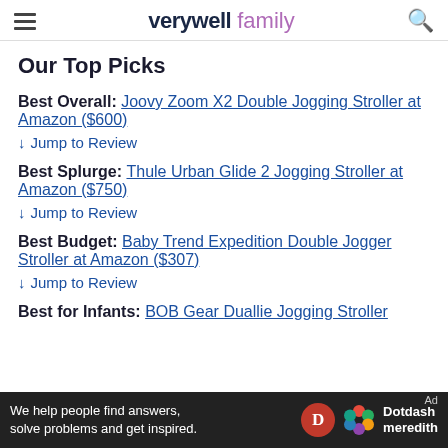verywell family
Our Top Picks
Best Overall: Joovy Zoom X2 Double Jogging Stroller at Amazon ($600)
↓ Jump to Review
Best Splurge: Thule Urban Glide 2 Jogging Stroller at Amazon ($750)
↓ Jump to Review
Best Budget: Baby Trend Expedition Double Jogger Stroller at Amazon ($307)
↓ Jump to Review
Best for Infants: BOB Gear Duallie Jogging Stroller...